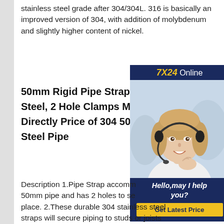stainless steel grade after 304/304L. 316 is basically an improved version of 304, with addition of molybdenum and slightly higher content of nickel.
50mm Rigid Pipe Strap, 304 Stainless Steel, 2 Hole Clamps Manufacturer Directly Price of 304 50mm Stainless Steel Pipe
[Figure (photo): Customer service advertisement banner: '7X24 Online' header, photo of a smiling woman with headset, 'Hello, may I help you?' text, and 'Get Latest Price' button]
Description 1.Pipe Strap accommodates 50mm pipe and has 2 holes to secure in place. 2.These durable 304 stainless steel straps will secure piping to studs or joists to reduce vibration noise. 3.Mounting screws are not included here! Specification Product Name Pipe Strap Material 304 Stainless Steel Finish